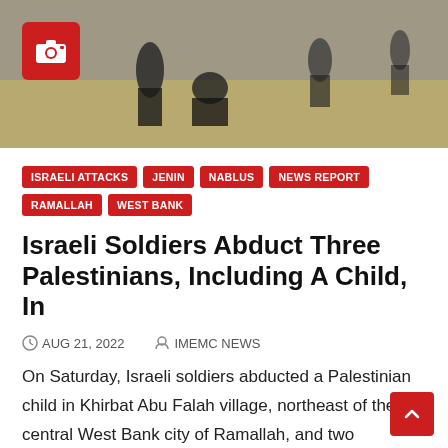[Figure (photo): News article header photo showing soldiers or armed personnel on a dirt road, partially visible at top of page. A red camera icon badge is overlaid in the upper left corner of the image.]
ISRAELI ATTACKS
JENIN
NABLUS
NEWS REPORT
RAMALLAH
WEST BANK
Israeli Soldiers Abduct Three Palestinians, Including A Child, In
AUG 21, 2022   IMEMC NEWS
On Saturday, Israeli soldiers abducted a Palestinian child in Khirbat Abu Falah village, northeast of the central West Bank city of Ramallah, and two Palestinians near Nablus and Jenin, in…